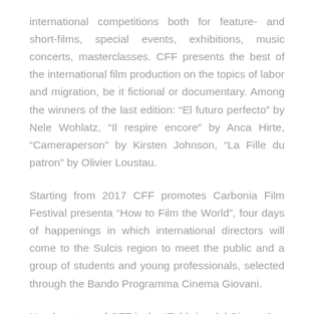international competitions both for feature- and short-films, special events, exhibitions, music concerts, masterclasses. CFF presents the best of the international film production on the topics of labor and migration, be it fictional or documentary. Among the winners of the last edition: “El futuro perfecto” by Nele Wohlatz, “Il respire encore” by Anca Hirte, “Cameraperson” by Kirsten Johnson, “La Fille du patron” by Olivier Loustau.
Starting from 2017 CFF promotes Carbonia Film Festival presenta “How to Film the World”, four days of happenings in which international directors will come to the Sulcis region to meet the public and a group of students and young professionals, selected through the Bando Programma Cinema Giovani.
Headquarters of CFF is the “Fabbrica del Cinema”, a